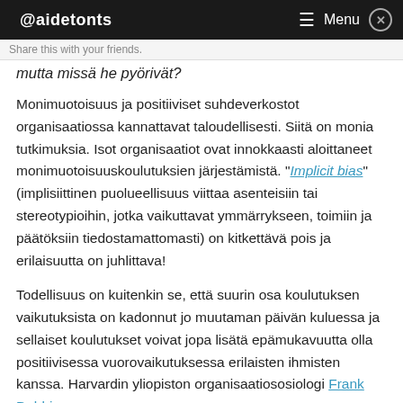@aidetonts  Menu ×
Share this with your friends.
mutta missä he pyörivät?
Monimuotoisuus ja positiiviset suhdeverkostot organisaatiossa kannattavat taloudellisesti. Siitä on monia tutkimuksia. Isot organisaatiot ovat innokkaasti aloittaneet monimuotoisuuskoulutuksien järjestämistä. "Implicit bias"(implisiittinen puolueellisuus viittaa asenteisiin tai stereotypioihin, jotka vaikuttavat ymmärrykseen, toimiin ja päätöksiin tiedostamattomasti) on kitkettävä pois ja erilaisuutta on juhlittava!
Todellisuus on kuitenkin se, että suurin osa koulutuksen vaikutuksista on kadonnut jo muutaman päivän kuluessa ja sellaiset koulutukset voivat jopa lisätä epämukavuutta olla positiivisessa vuorovaikutuksessa erilaisten ihmisten kanssa. Harvardin yliopiston organisaatiososiologi Frank Dobbin on